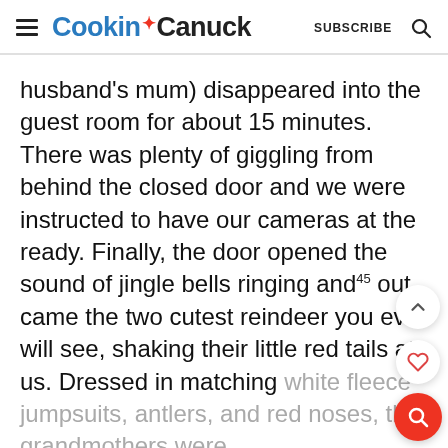Cookin Canuck  SUBSCRIBE
husband's mum) disappeared into the guest room for about 15 minutes. There was plenty of giggling from behind the closed door and we were instructed to have our cameras at the ready. Finally, the door opened the sound of jingle bells ringing and45 out came the two cutest reindeer you ever will see, shaking their little red tails at us. Dressed in matching white fleece jumpsuits, antlers, and red noses, the grandmothers were